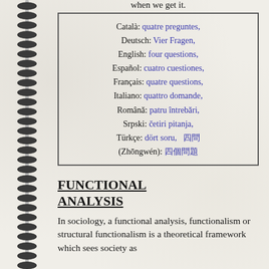when we get it.
| Català: quatre preguntes, |
| Deutsch: Vier Fragen, |
| English: four questions, |
| Español: cuatro cuestiones, |
| Français: quatre questions, |
| Italiano: quattro domande, |
| Română: patru întrebări, |
| Srpski: četiri pitanja, |
| Türkçe: dört soru, 四問 (Zhōngwén): 四個問題 |
FUNCTIONAL ANALYSIS
In sociology, a functional analysis, functionalism or structural functionalism is a theoretical framework which sees society as consisting of a...